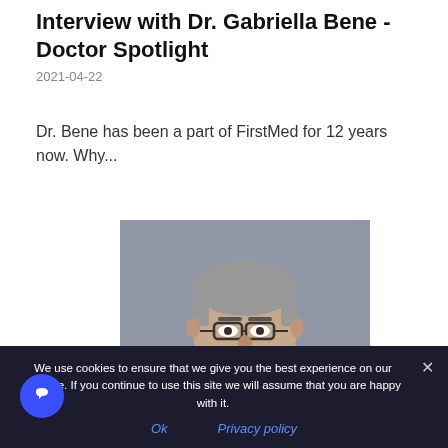Interview with Dr. Gabriella Bene - Doctor Spotlight
2021-04-22
Dr. Bene has been a part of FirstMed for 12 years now. Why...
[Figure (photo): Headshot portrait of Dr. Gabriella Bene, a middle-aged man with short salt-and-pepper hair and dark-rimmed glasses, photographed against a gray background.]
We use cookies to ensure that we give you the best experience on our website. If you continue to use this site we will assume that you are happy with it.
Ok
Privacy policy